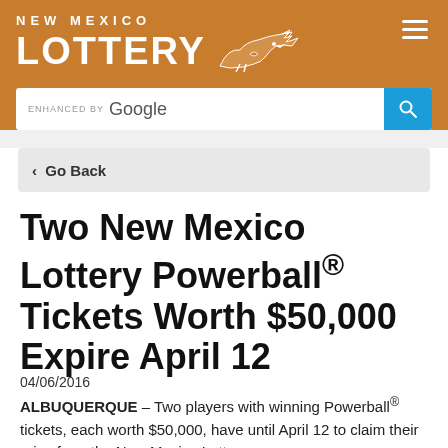[Figure (logo): New Mexico Lottery logo with roadrunner graphic on brown/orange header background]
[Figure (screenshot): Google search bar with search button]
‹ Go Back
Two New Mexico Lottery Powerball® Tickets Worth $50,000 Expire April 12
04/06/2016
ALBUQUERQUE – Two players with winning Powerball® tickets, each worth $50,000, have until April 12 to claim their prize from the New Mexico Lottery.